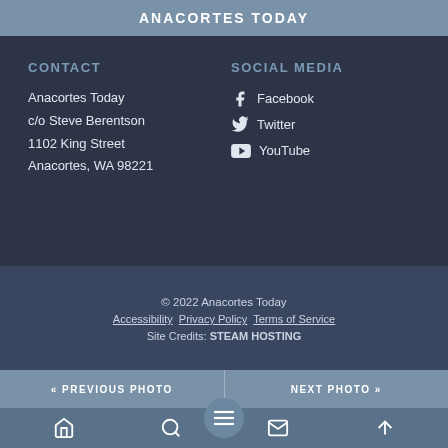ANACORTES TODAY
CONTACT
Anacortes Today
c/o Steve Berentson
1102 King Street
Anacortes, WA 98221
SOCIAL MEDIA
Facebook
Twitter
YouTube
© 2022 Anacortes Today
Accessibility   Privacy Policy   Terms of Service
Site Credits: STEAM HOSTING
« PREVIOUS PHOTO   NEXT PHOTO »